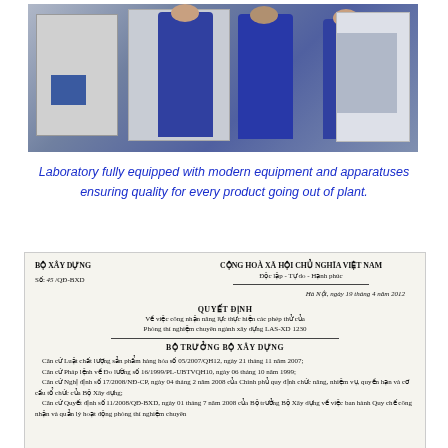[Figure (photo): Laboratory photo showing three workers in blue overalls working with industrial equipment and testing apparatus in a lab setting]
Laboratory fully equipped with modern equipment and apparatuses ensuring quality for every product going out of plant.
[Figure (photo): Scanned official Vietnamese government document from Bo Xay Dung (Ministry of Construction), numbered 45/QD-BXD, dated Hanoi 19 tháng 4 năm 2012, titled QUYET DINH about recognizing testing laboratory LAS-XD 1230]